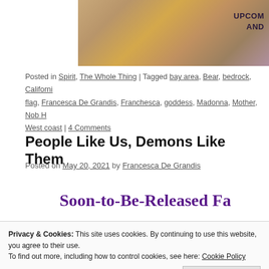[Figure (illustration): Partial banner image showing a stylized animal figure on a colorful background with text 'UPCOM... AND...' visible on the right side]
Posted in Spirit, The Whole Thing | Tagged bay area, Bear, bedrock, Californi... flag, Francesca De Grandis, Franchesca, goddess, Madonna, Mother, Nob H... West coast | 4 Comments
People Like Us, Demons Like Them
Posted on May 20, 2021 by Francesca De Grandis
Soon-to-Be-Released Fa...
[Figure (photo): Dark image partially visible at bottom of page, appears to be a night or dark-toned photograph]
Privacy & Cookies: This site uses cookies. By continuing to use this website, you agree to their use.
To find out more, including how to control cookies, see here: Cookie Policy
Close and accept